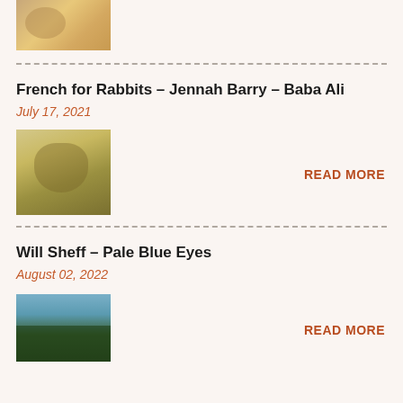[Figure (photo): Partial top image cropped at page top]
French for Rabbits – Jennah Barry – Baba Ali
July 17, 2021
[Figure (photo): Blurry close-up photo of a person or animal]
READ MORE
Will Sheff – Pale Blue Eyes
August 02, 2022
[Figure (photo): Photo of a person against a mountainous landscape with blue sky]
READ MORE